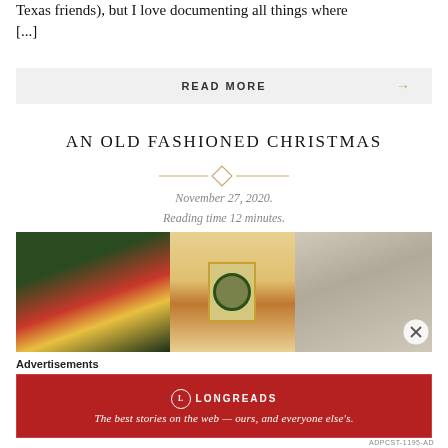Texas friends), but I love documenting all things where [...]
READ MORE →
AN OLD FASHIONED CHRISTMAS
November 27, 2020.
Reading time 12 minutes.
[Figure (photo): Indoor Christmas scene with decorated tree on the left, framed wreath artwork in the center flanked by candles, and patterned curtains on the right.]
Advertisements
[Figure (logo): Longreads advertisement banner: red background with Longreads logo and text 'The best stories on the web — ours, and everyone else's.']
ADPCST-1195-AD